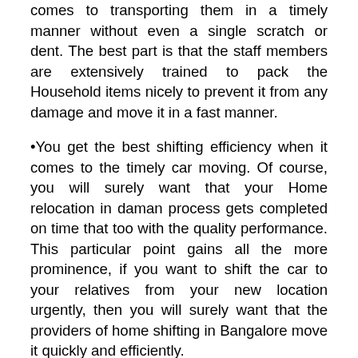comes to transporting them in a timely manner without even a single scratch or dent. The best part is that the staff members are extensively trained to pack the Household items nicely to prevent it from any damage and move it in a fast manner.
•You get the best shifting efficiency when it comes to the timely car moving. Of course, you will surely want that your Home relocation in daman process gets completed on time that too with the quality performance. This particular point gains all the more prominence, if you want to shift the car to your relatives from your new location urgently, then you will surely want that the providers of home shifting in Bangalore move it quickly and efficiently.
•The biggest advantage that you will experience if you make up your mind to hire the Packers Movers Bangalore to daman  is your stress will be minimized and you get great peace of mind. This is because the household relocation activity will be carried out in a